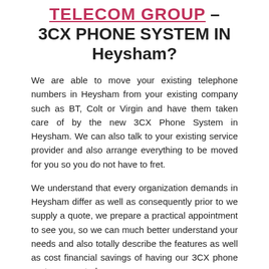TELECOM GROUP – 3CX PHONE SYSTEM IN Heysham?
We are able to move your existing telephone numbers in Heysham from your existing company such as BT, Colt or Virgin and have them taken care of by the new 3CX Phone System in Heysham. We can also talk to your existing service provider and also arrange everything to be moved for you so you do not have to fret.
We understand that every organization demands in Heysham differ as well as consequently prior to we supply a quote, we prepare a practical appointment to see you, so we can much better understand your needs and also totally describe the features as well as cost financial savings of having our 3CX phone system mounted.